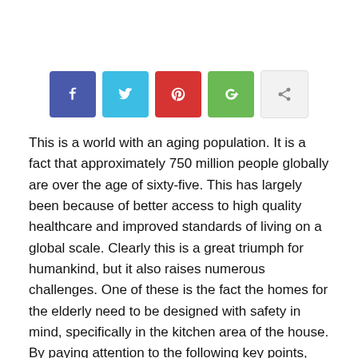[Figure (other): Row of five social sharing buttons: Facebook (dark blue), Twitter (light blue), Pinterest (red), Google+ (green), and a share button (light gray)]
This is a world with an aging population. It is a fact that approximately 750 million people globally are over the age of sixty-five. This has largely been because of better access to high quality healthcare and improved standards of living on a global scale. Clearly this is a great triumph for humankind, but it also raises numerous challenges. One of these is the fact the homes for the elderly need to be designed with safety in mind, specifically in the kitchen area of the house. By paying attention to the following key points, you will ensure that the kitchen remains a safe place for the elderly generation.